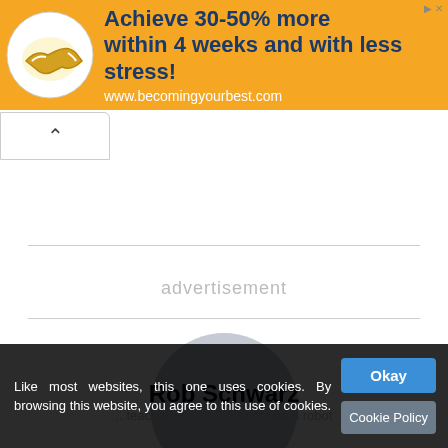[Figure (infographic): Advertisement banner with orange background, handshake logo, and text: Achieve 30-50% more within 4 weeks and with less stress! www.becomingyourbest.com]
advertisement
[Figure (photo): Gray circular placeholder avatar image for Rob Schwarz]
Rob Schwarz
...teacher of... ...Might be a robot
Like most websites, this one uses cookies. By browsing this website, you agree to this use of cookies.
Okay
Cookie Policy